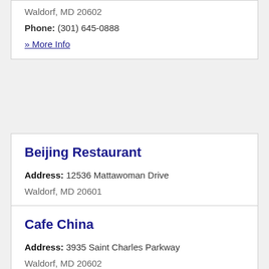Waldorf, MD 20602
Phone: (301) 645-0888
» More Info
Beijing Restaurant
Address: 12536 Mattawoman Drive
Waldorf, MD 20601
Phone: (301) 932-8777
» More Info
Cafe China
Address: 3935 Saint Charles Parkway
Waldorf, MD 20602
Phone: (301) 705-8888